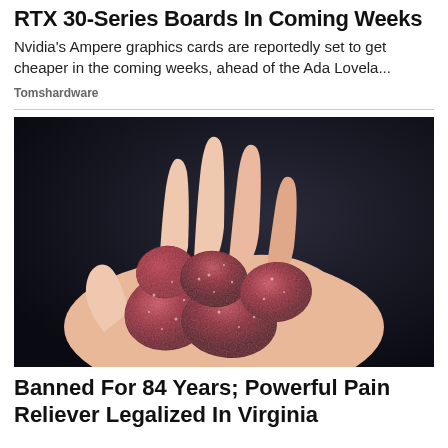RTX 30-Series Boards In Coming Weeks
Nvidia's Ampere graphics cards are reportedly set to get cheaper in the coming weeks, ahead of the Ada Lovela...
Tomshardware
[Figure (photo): A hand holding several red sugar-coated gummy candies against a dark background]
Banned For 84 Years; Powerful Pain Reliever Legalized In Virginia